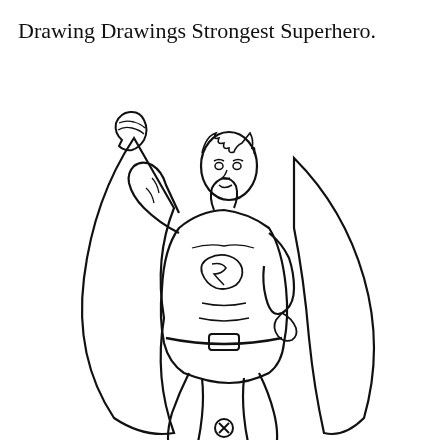Drawing Drawings Strongest Superhero.
[Figure (illustration): Line drawing illustration of a superhero (Superman-like character) in a dynamic pose, fist raised upward, wearing a cape and costume with an 'S' symbol on the chest, muscles defined, black and white outline style coloring page art.]